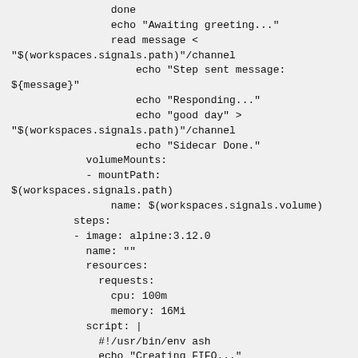done
            echo "Awaiting greeting..."
            read message <
"$(workspaces.signals.path)"/channel
                echo "Step sent message:
${message}"
                echo "Responding..."
                echo "good day" >
"$(workspaces.signals.path)"/channel
                echo "Sidecar Done."
            volumeMounts:
            - mountPath:
$(workspaces.signals.path)
                name: $(workspaces.signals.volume)
          steps:
          - image: alpine:3.12.0
            name: ""
            resources:
              requests:
                cpu: 100m
                memory: 16Mi
            script: |
              #!/usr/bin/env ash
              echo "Creating FIFO..."
              mkfifo
"$(workspaces.signals.path)/channel"
                echo "Greeting sidecar..."
                echo "hello there" >
"$(workspaces.signals.path)/channel"
                echo "Awaiting response..."